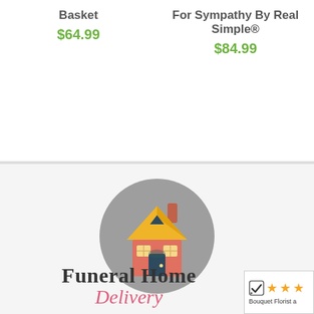Basket
$64.99
For Sympathy By Real Simple®
$84.99
[Figure (logo): Funeral Home Delivery logo showing a house icon in a gray circle with text 'Funeral Home Delivery' below]
[Figure (logo): Bouquet Florist rating badge with checkmark and stars]